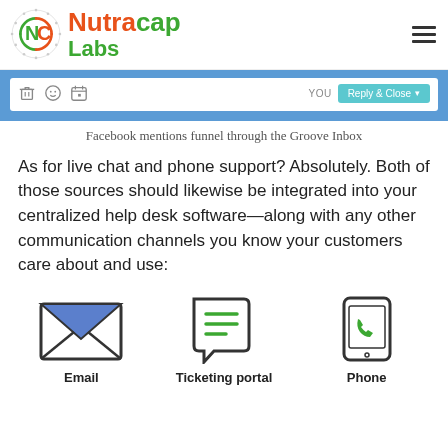[Figure (logo): Nutracap Labs logo with circular NC icon in green/orange and text 'Nutracap Labs' in orange and green]
[Figure (screenshot): Screenshot of Groove inbox interface showing toolbar icons (trash, emoji, attachment), YOU label, and Reply & Close button on blue background]
Facebook mentions funnel through the Groove Inbox
As for live chat and phone support? Absolutely. Both of those sources should likewise be integrated into your centralized help desk software—along with any other communication channels you know your customers care about and use:
[Figure (illustration): Three icons in a row: Email (envelope with blue triangle flap), Ticketing portal (document/ticket with green lines), Phone (smartphone with green phone icon). Labels beneath each icon.]